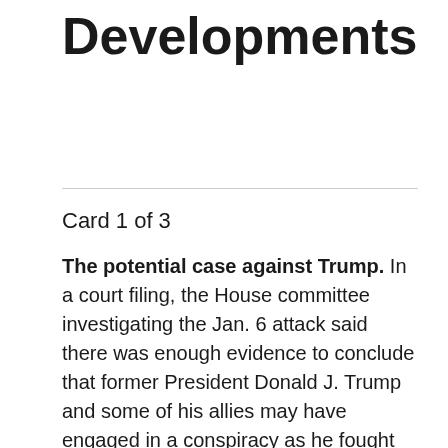Developments
Card 1 of 3
The potential case against Trump. In a court filing, the House committee investigating the Jan. 6 attack said there was enough evidence to conclude that former President Donald J. Trump and some of his allies may have engaged in a conspiracy as he fought criminal remain in office.
In court papers, the Oath Keeper who pleaded guilty, Joshua James, told the government that the group's leader, Stewart